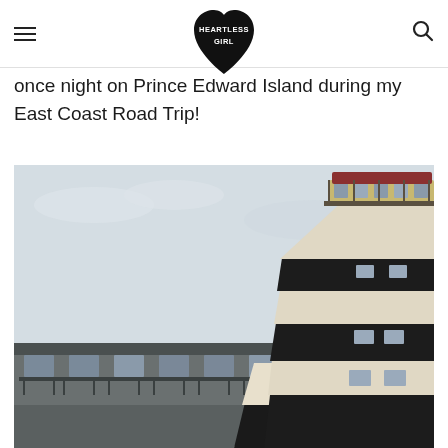HEARTLESS GIRL (logo)
once night on Prince Edward Island during my East Coast Road Trip!
[Figure (photo): Black and white striped lighthouse tower with motel building below, under overcast sky — Prince Edward Island.]